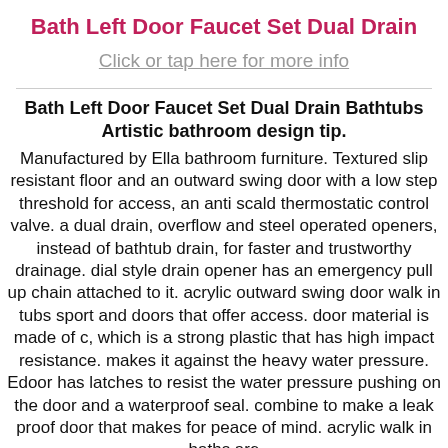Bath Left Door Faucet Set Dual Drain
Click or tap here for more info
Bath Left Door Faucet Set Dual Drain Bathtubs Artistic bathroom design tip.
Manufactured by Ella bathroom furniture. Textured slip resistant floor and an outward swing door with a low step threshold for access, an anti scald thermostatic control valve. a dual drain, overflow and steel operated openers, instead of bathtub drain, for faster and trustworthy drainage. dial style drain opener has an emergency pull up chain attached to it. acrylic outward swing door walk in tubs sport and doors that offer access. door material is made of c, which is a strong plastic that has high impact resistance. makes it against the heavy water pressure. Edoor has latches to resist the water pressure pushing on the door and a waterproof seal. combine to make a leak proof door that makes for peace of mind. acrylic walk in baths are